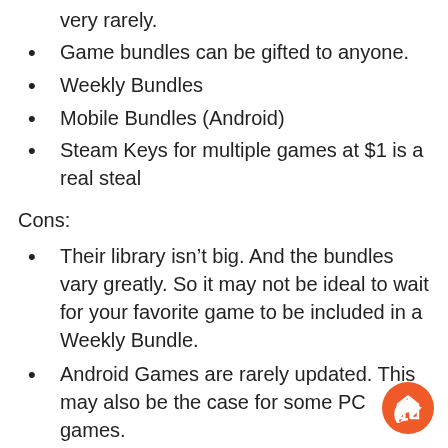very rarely.
Game bundles can be gifted to anyone.
Weekly Bundles
Mobile Bundles (Android)
Steam Keys for multiple games at $1 is a real steal
Cons:
Their library isn't big. And the bundles vary greatly. So it may not be ideal to wait for your favorite game to be included in a Weekly Bundle.
Android Games are rarely updated. This may also be the case for some PC games.
2. GOG